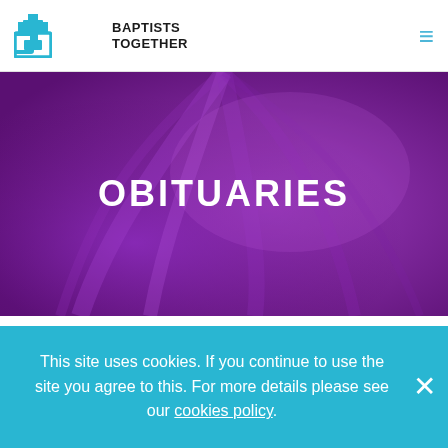BAPTISTS TOGETHER
[Figure (illustration): Purple draped fabric hero banner background with radial light effect]
OBITUARIES
The Baptist Union > The Baptist Times > Obituaries > The Revd Ralph John Stephens: 1925-2017
This site uses cookies. If you continue to use the site you agree to this. For more details please see our cookies policy.